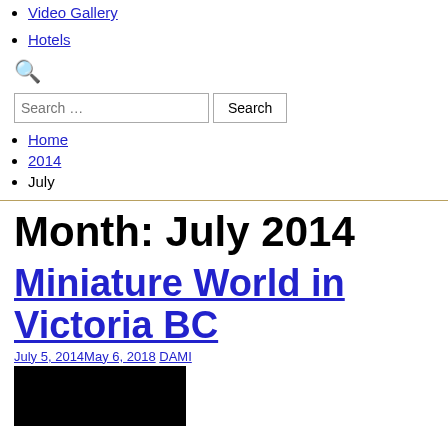Video Gallery
Hotels
Search …
Home
2014
July
Month: July 2014
Miniature World in Victoria BC
July 5, 2014May 6, 2018 DAMI
[Figure (photo): Black image thumbnail for Miniature World in Victoria BC article]